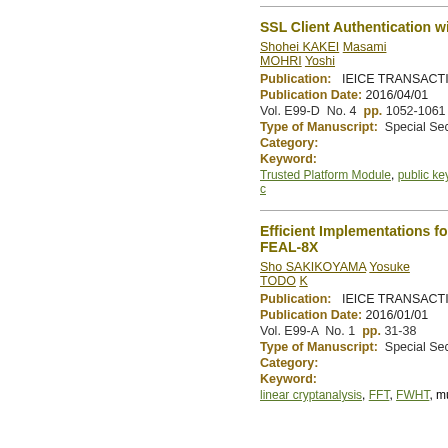SSL Client Authentication wi
Shohei KAKEI  Masami MOHRI  Yoshi
Publication:   IEICE TRANSACTION
Publication Date: 2016/04/01
Vol. E99-D  No. 4  pp. 1052-1061
Type of Manuscript:  Special Section
Category:
Keyword:
Trusted Platform Module, public key c
Efficient Implementations fo FEAL-8X
Sho SAKIKOYAMA  Yosuke TODO  K
Publication:   IEICE TRANSACTION
Publication Date: 2016/01/01
Vol. E99-A  No. 1  pp. 31-38
Type of Manuscript:  Special Section
Category:
Keyword:
linear cryptanalysis, FFT, FWHT, mul